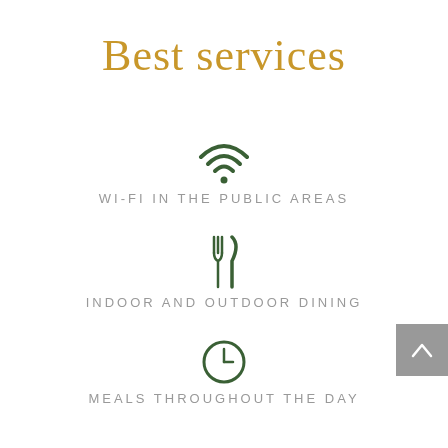Best services
[Figure (illustration): Green Wi-Fi icon]
WI-FI IN THE PUBLIC AREAS
[Figure (illustration): Green fork and knife dining icon]
INDOOR AND OUTDOOR DINING
[Figure (illustration): Green clock icon]
MEALS THROUGHOUT THE DAY